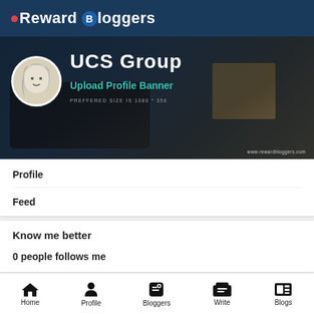Reward Bloggers
[Figure (screenshot): UCS Group profile banner with avatar circle showing illustrated face, title 'UCS Group', teal text 'Upload Profile Banner', small text 'PREFFERED SIZE IS 1080 * 350', watermark 'www.rewardbloggers.com']
Profile
Feed
Know me better
0 people follows me
Home | Profile | Bloggers | Write | Blogs